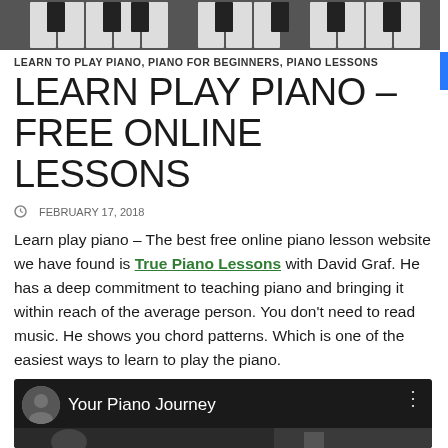[Figure (photo): Top portion of piano keyboard image, partially cropped]
LEARN TO PLAY PIANO, PIANO FOR BEGINNERS, PIANO LESSONS
LEARN PLAY PIANO – FREE ONLINE LESSONS
FEBRUARY 17, 2018
Learn play piano – The best free online piano lesson website we have found is True Piano Lessons with David Graf. He has a deep commitment to teaching piano and bringing it within reach of the average person. You don't need to read music. He shows you chord patterns. Which is one of the easiest ways to learn to play the piano.
[Figure (screenshot): Video player thumbnail showing 'Your Piano Journey' with avatar and person visible in the thumbnail]